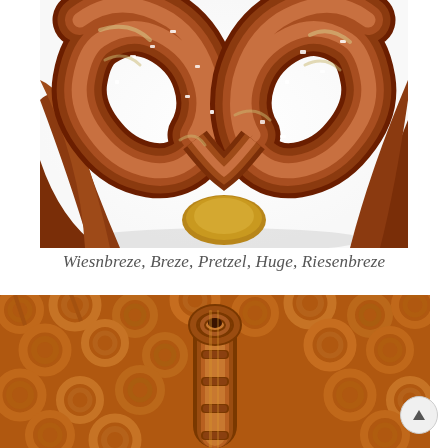[Figure (photo): Close-up photograph of a large German pretzel (Wiesnbreze/Riesenbreze) with coarse salt crystals on a white background, showing the twisted dough in deep brown color with pale yellow highlights]
Wiesnbreze, Breze, Pretzel, Huge, Riesenbreze
[Figure (photo): Close-up photograph of many small golden-brown hard pretzels piled together, with one larger pretzel standing upright in the center foreground, showing the characteristic twisted shape and golden baked color]